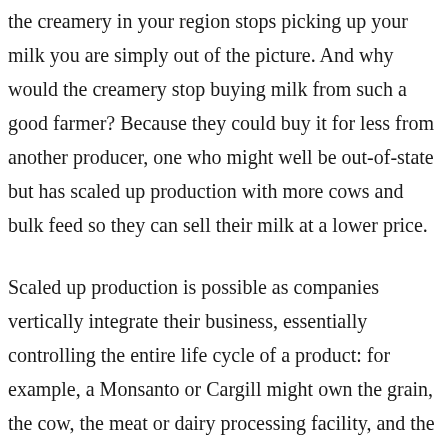the creamery in your region stops picking up your milk you are simply out of the picture. And why would the creamery stop buying milk from such a good farmer? Because they could buy it for less from another producer, one who might well be out-of-state but has scaled up production with more cows and bulk feed so they can sell their milk at a lower price.
Scaled up production is possible as companies vertically integrate their business, essentially controlling the entire life cycle of a product: for example, a Monsanto or Cargill might own the grain, the cow, the meat or dairy processing facility, and the marketing and sales process. Such vertical integration allows, for example, Costco to price their rotisserie chicken at a loss–selling below production costs–just to get consumers into the store. Once that genie is out of the bottle and farms start going out of business, the